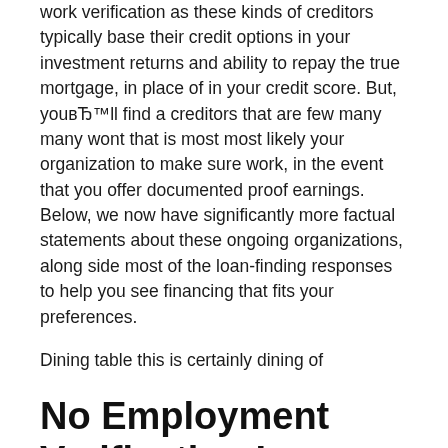work verification as these kinds of creditors typically base their credit options in your investment returns and ability to repay the true mortgage, in place of in your credit score. But, youвЂ™ll find a creditors that are few many many wont that is most most likely your organization to make sure work, in the event that you offer documented proof earnings. Below, we now have significantly more factual statements about these ongoing organizations, along side most of the loan-finding responses to help you see financing that fits your preferences.
Dining table this is certainly dining of
No Employment Verification Loans
One-hour loans and improvements which are payday need evidence profits and work. Lenders want